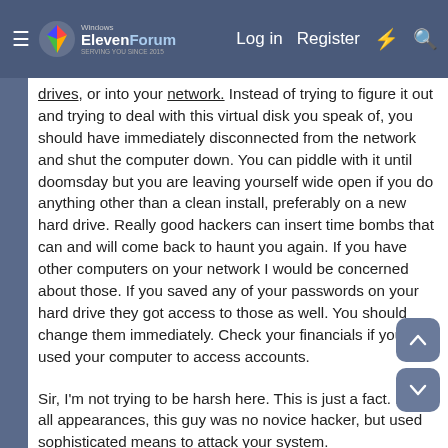Windows ElevenForum | Log in | Register
drives, or into your network. Instead of trying to figure it out and trying to deal with this virtual disk you speak of, you should have immediately disconnected from the network and shut the computer down. You can piddle with it until doomsday but you are leaving yourself wide open if you do anything other than a clean install, preferably on a new hard drive. Really good hackers can insert time bombs that can and will come back to haunt you again. If you have other computers on your network I would be concerned about those. If you saved any of your passwords on your hard drive they got access to those as well. You should change them immediately. Check your financials if you used your computer to access accounts.
Sir, I'm not trying to be harsh here. This is just a fact. From all appearances, this guy was no novice hacker, but used sophisticated means to attack your system. The...